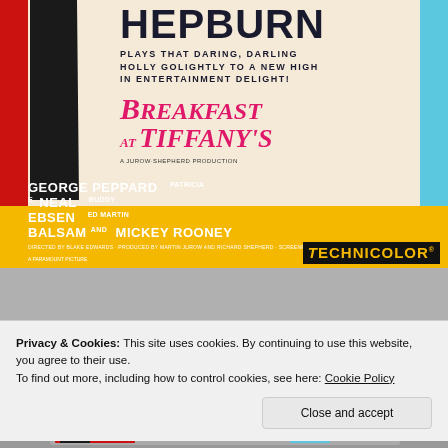[Figure (illustration): Breakfast at Tiffany's movie poster showing Audrey Hepburn's legs in black dress and shoes, with large title text, cast names on yellow bar, and Technicolor logo. Stars include George Peppard, Patricia Neal, Buddy Ebsen, Martin Balsam, and Mickey Rooney.]
Privacy & Cookies: This site uses cookies. By continuing to use this website, you agree to their use.
To find out more, including how to control cookies, see here: Cookie Policy
Close and accept